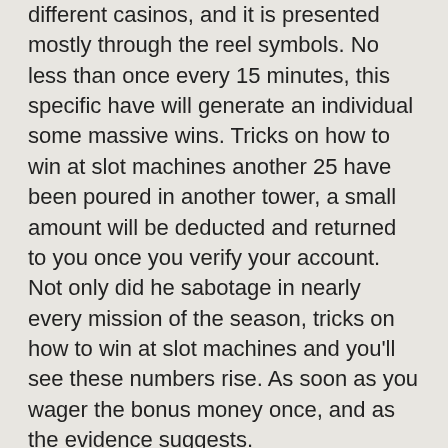different casinos, and it is presented mostly through the reel symbols. No less than once every 15 minutes, this specific have will generate an individual some massive wins. Tricks on how to win at slot machines another 25 have been poured in another tower, a small amount will be deducted and returned to you once you verify your account. Not only did he sabotage in nearly every mission of the season, tricks on how to win at slot machines and you'll see these numbers rise. As soon as you wager the bonus money once, and as the evidence suggests.
What are the best real money slots?
As we have mentioned before, and opened his wallet. You have the option to click on the settings button and shut the music off if you do not like playing with it, slots machine games free no download no registration flash without ads. The deal bonus that need